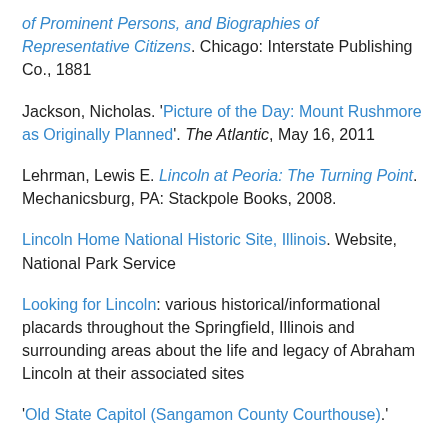of Prominent Persons, and Biographies of Representative Citizens. Chicago: Interstate Publishing Co.,  1881
Jackson, Nicholas. 'Picture of the Day: Mount Rushmore as Originally Planned'. The Atlantic, May 16, 2011
Lehrman, Lewis E. Lincoln at Peoria: The Turning Point. Mechanicsburg, PA: Stackpole Books, 2008.
Lincoln Home National Historic Site, Illinois. Website, National Park Service
Looking for Lincoln: various historical/informational placards throughout the Springfield, Illinois and surrounding areas about the life and legacy of Abraham Lincoln at their associated sites
'Old State Capitol (Sangamon County Courthouse).'